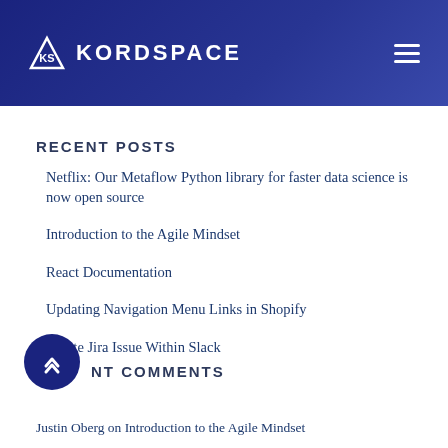KORDSPACE
RECENT POSTS
Netflix: Our Metaflow Python library for faster data science is now open source
Introduction to the Agile Mindset
React Documentation
Updating Navigation Menu Links in Shopify
Create Jira Issue Within Slack
RECENT COMMENTS
Justin Oberg on Introduction to the Agile Mindset